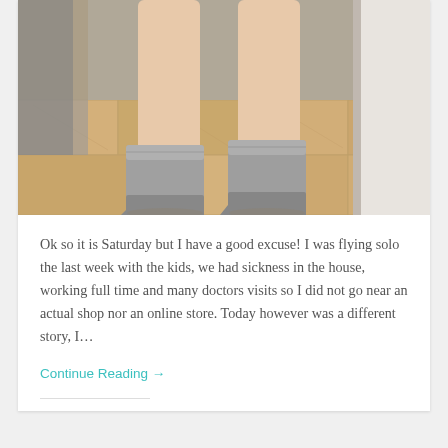[Figure (photo): Photo of a person's legs from the knees down, wearing grey suede ankle boots, standing on light wood grain tile flooring in what appears to be a fitting room or store. A grey garment hangs on a rack to the left.]
Ok so it is Saturday but I have a good excuse! I was flying solo the last week with the kids, we had sickness in the house, working full time and many doctors visits so I did not go near an actual shop nor an online store. Today however was a different story, I…
Continue Reading →